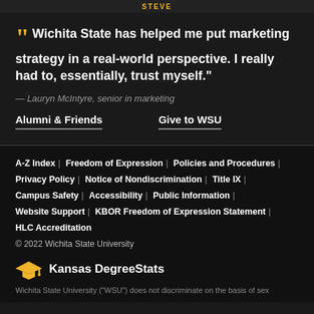" Wichita State has helped me put marketing strategy in a real-world perspective. I really had to, essentially, trust myself."
— Lauryn McIntyre, senior in marketing
Alumni & Friends   Give to WSU
A-Z Index | Freedom of Expression | Policies and Procedures | Privacy Policy | Notice of Nondiscrimination | Title IX | Campus Safety | Accessibility | Public Information | Website Support | KBOR Freedom of Expression Statement | HLC Accreditation
© 2022 Wichita State University
[Figure (logo): Kansas DegreeStats logo with graduation cap icon in gold]
Wichita State University ("WSU") does not discriminate on the basis of sex